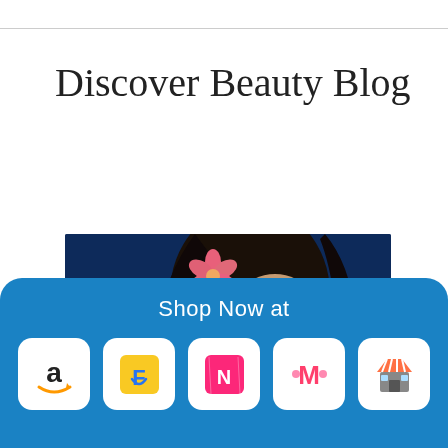Discover Beauty Blog
[Figure (photo): Woman with closed eyes and pink flower in hair against a dark blue background]
Shop Now at
[Figure (logo): Amazon logo]
[Figure (logo): Flipkart logo]
[Figure (logo): Nykaa logo]
[Figure (logo): Myntra logo]
[Figure (logo): Shop/market store logo]